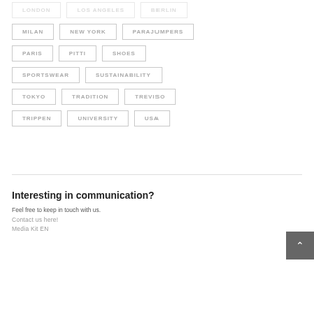MILAN
NEW YORK
PARAJUMPERS
PARIS
PITTI
SHOES
SPORTSWEAR
SUSTAINABILITY
TOKYO
TRADITION
TREVISO
TRIPPEN
UNIVERSITY
USA
Interesting in communication?
Feel free to keep in touch with us.
Contact us here!
Media Kit EN